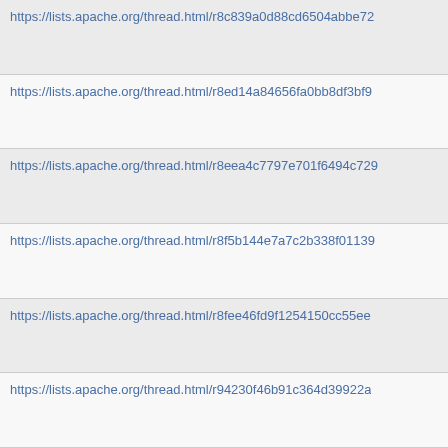https://lists.apache.org/thread.html/r8c839a0d88cd6504abbe72
https://lists.apache.org/thread.html/r8ed14a84656fa0bb8df3bf9
https://lists.apache.org/thread.html/r8eea4c7797e701f6494c729
https://lists.apache.org/thread.html/r8f5b144e7a7c2b338f01139
https://lists.apache.org/thread.html/r8fee46fd9f1254150cc55ee
https://lists.apache.org/thread.html/r94230f46b91c364d39922a